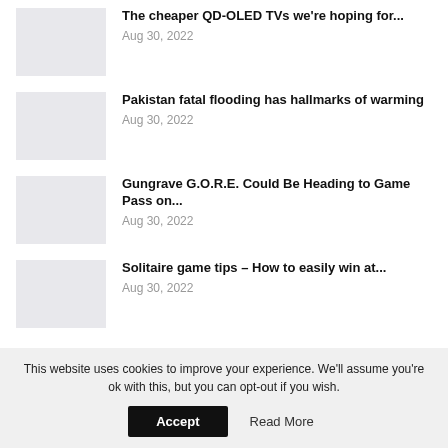The cheaper QD-OLED TVs we're hoping for... Aug 30, 2022
Pakistan fatal flooding has hallmarks of warming Aug 30, 2022
Gungrave G.O.R.E. Could Be Heading to Game Pass on... Aug 30, 2022
Solitaire game tips – How to easily win at... Aug 30, 2022
This website uses cookies to improve your experience. We'll assume you're ok with this, but you can opt-out if you wish.